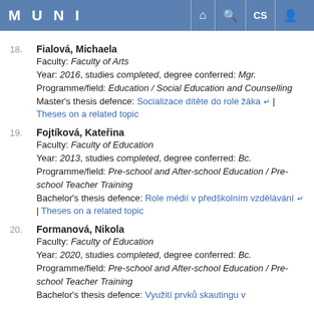MUNI
18. Fialová, Michaela
Faculty: Faculty of Arts
Year: 2016, studies completed, degree conferred: Mgr.
Programme/field: Education / Social Education and Counselling
Master's thesis defence: Socializace dítěte do role žáka | Theses on a related topic
19. Fojtíková, Kateřina
Faculty: Faculty of Education
Year: 2013, studies completed, degree conferred: Bc.
Programme/field: Pre-school and After-school Education / Pre-school Teacher Training
Bachelor's thesis defence: Role médií v předškolním vzdělávání | Theses on a related topic
20. Formanová, Nikola
Faculty: Faculty of Education
Year: 2020, studies completed, degree conferred: Bc.
Programme/field: Pre-school and After-school Education / Pre-school Teacher Training
Bachelor's thesis defence: Využití prvků skautingu v...